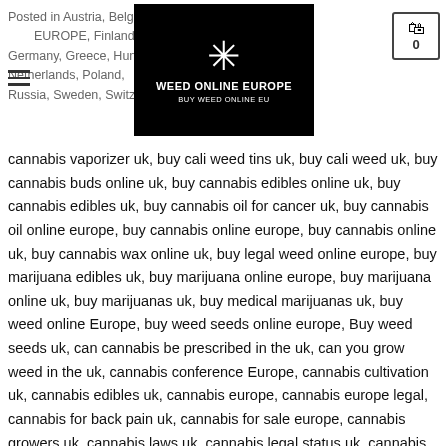Posted in Austria, Belgium, EUROPE, Finland, France, Germany, Greece, Hungary, Netherlands, Poland, Russia, Sweden, Switzerland
[Figure (logo): Weed Online Europe logo — black background with white snowflake/leaf icon, text WEED ONLINE EUROPE, BUY WEED ONLINE EU]
cannabis vaporizer uk, buy cali weed tins uk, buy cali weed uk, buy cannabis buds online uk, buy cannabis edibles online uk, buy cannabis edibles uk, buy cannabis oil for cancer uk, buy cannabis oil online europe, buy cannabis online europe, buy cannabis online uk, buy cannabis wax online uk, buy legal weed online europe, buy marijuana edibles uk, buy marijuana online europe, buy marijuana online uk, buy marijuanas uk, buy medical marijuanas uk, buy weed online Europe, buy weed seeds online europe, Buy weed seeds uk, can cannabis be prescribed in the uk, can you grow weed in the uk, cannabis conference Europe, cannabis cultivation uk, cannabis edibles uk, cannabis europe, cannabis europe legal, cannabis for back pain uk, cannabis for sale europe, cannabis growers uk, cannabis laws uk, cannabis legal status uk, cannabis oil europe, cannabis oil for back pain uk, cannabis oil forum uk, cannabis oil vape pen uk, cannabis pills uk, cannabis price europe, cannabis research uk, cannabis seeds europe, cannabis seeds uk, cannabis shares uk, cannabis supplements uk, cannabis uk, cannabis uk laws, canned weed uk, cbd cannabis oil uk, cheap cannabis vaporizer uk, cheap weed killer uk, cheapest Weed in europe, common European weeds, countries weed is legal in Europe,